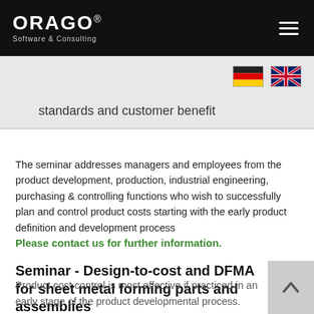ORAGO® Software & Consulting
[Figure (illustration): German and UK flag icons for language selection]
standards and customer benefit
The seminar addresses managers and employees from the product development, production, industrial engineering, purchasing & controlling functions who wish to successfully plan and control product costs starting with the early product definition and development process
Please contact us for further information.
Seminar - Design-to-cost and DFMA for sheet metal forming parts and assemblies
Product cost control is most effective if practiced in an early stage of the product developmental process.